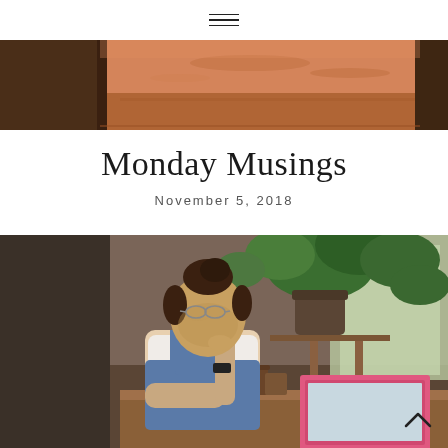☰ (hamburger menu icon)
[Figure (photo): Close-up of a terracotta/brown-orange textured surface (appears to be leather or paper) cropped at the top of the page]
Monday Musings
November 5, 2018
[Figure (photo): Photo of a young woman with glasses and hair up in a bun, wearing a white t-shirt and denim overalls, sitting at a wooden desk in a cafe or studio space, looking down while touching her glasses. Behind her are green potted ferns and plants near a window. A pink laptop is open on the desk in front of her.]